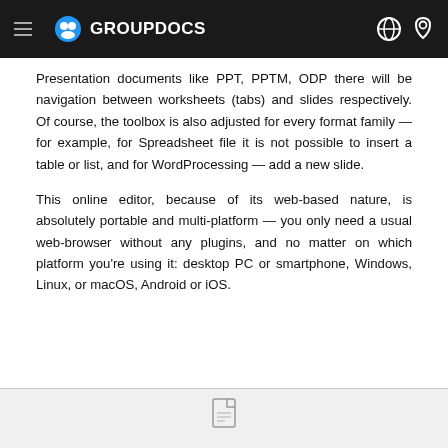GROUPDOCS
Presentation documents like PPT, PPTM, ODP there will be navigation between worksheets (tabs) and slides respectively. Of course, the toolbox is also adjusted for every format family — for example, for Spreadsheet file it is not possible to insert a table or list, and for WordProcessing — add a new slide.
This online editor, because of its web-based nature, is absolutely portable and multi-platform — you only need a usual web-browser without any plugins, and no matter on which platform you're using it: desktop PC or smartphone, Windows, Linux, or macOS, Android or iOS.